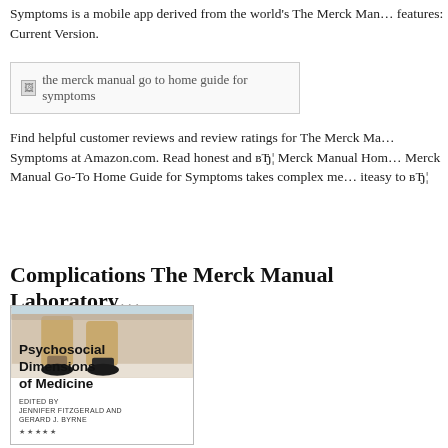Symptoms is a mobile app derived from the world's The Merck Man... features: Current Version.
[Figure (other): Broken image placeholder with alt text: the merck manual go to home guide for symptoms]
Find helpful customer reviews and review ratings for The Merck Ma... Symptoms at Amazon.com. Read honest and вЂ¦ Merck Manual Hom... Merck Manual Go-To Home Guide for Symptoms takes complex me... iteasy to вЂ¦
Complications The Merck Manual Laboratory
[Figure (photo): Book cover: Psychosocial Dimensions of Medicine, edited by Jennifer Fitzgerald and Gerard J. Byrne. Shows legs of a person seated, with book title text overlay.]